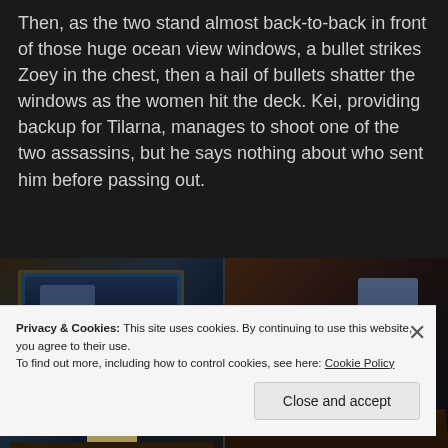Then, as the two stand almost back-to-back in front of those huge ocean view windows, a bullet strikes Zoey in the chest, then a hail of bullets shatter the windows as the women hit the deck. Kei, providing backup for Tilarna, manages to shoot one of the two assassins, but he says nothing about who sent him before passing out.
[Figure (screenshot): Two anime screenshots side by side. Left: a character sitting in a dark room watching a news broadcast on a large TV showing a suited male figure. Right: a suited character sitting alone in a dimly lit red/brown room.]
Privacy & Cookies: This site uses cookies. By continuing to use this website, you agree to their use.
To find out more, including how to control cookies, see here: Cookie Policy